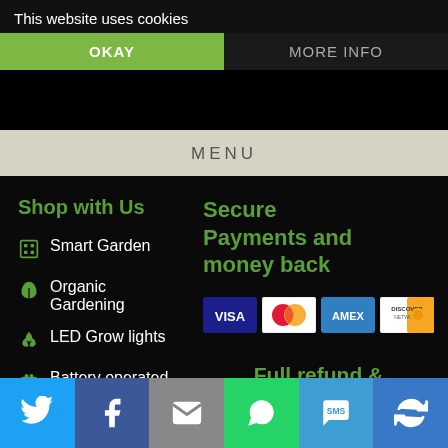This website uses cookies
OKAY
MORE INFO
MENU
Shop with Us
Smart Garden
Organic Gardening
LED Grow lights
Battery operated tools
Outdoor Lighting
Secure Payments and money back
[Figure (other): Payment card logos: VISA, MasterCard, AMEX, Discover]
Full refund & return
You may return for any reason, or full refund  within 30 days .
[Figure (other): Social media icon bar: Twitter, Facebook, Email, WhatsApp, SMS, other]